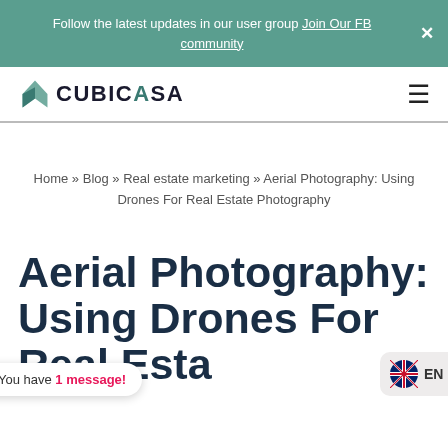Follow the latest updates in our user group Join Our FB community
[Figure (logo): CubicAsa logo with teal arrow/house icon and bold text CUBICASA]
Home » Blog » Real estate marketing » Aerial Photography: Using Drones For Real Estate Photography
Aerial Photography: Using Drones For Real Estate Photography
You have 1 message!
EN >